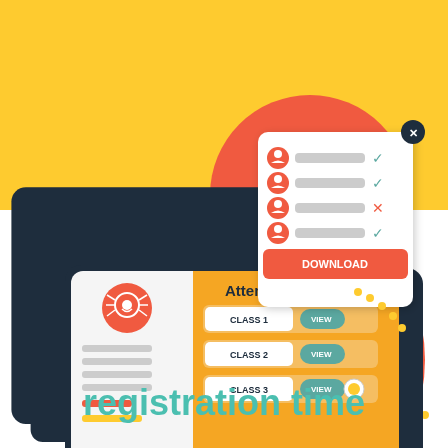[Figure (infographic): Educational infographic showing a tablet with 'Attendance' screen listing CLASS 1, CLASS 2, CLASS 3 with VIEW buttons, alongside a checklist popup with person icons and checkmarks/X marks, plus a DOWNLOAD button. Set against yellow and red/coral background shapes. Below is the text 'registration time' in teal.]
registration time